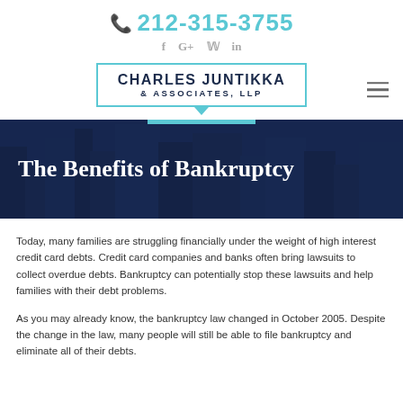212-315-3755
[Figure (logo): Charles Juntikka & Associates, LLP law firm logo with teal border and speech-bubble pointer]
The Benefits of Bankruptcy
Today, many families are struggling financially under the weight of high interest credit card debts. Credit card companies and banks often bring lawsuits to collect overdue debts. Bankruptcy can potentially stop these lawsuits and help families with their debt problems.
As you may already know, the bankruptcy law changed in October 2005. Despite the change in the law, many people will still be able to file bankruptcy and eliminate all of their debts.